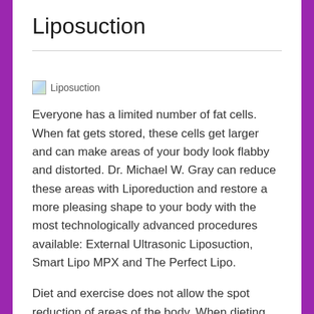Liposuction
[Figure (photo): Broken image placeholder labeled 'Liposuction']
Everyone has a limited number of fat cells. When fat gets stored, these cells get larger and can make areas of your body look flabby and distorted. Dr. Michael W. Gray can reduce these areas with Liporeduction and restore a more pleasing shape to your body with the most technologically advanced procedures available: External Ultrasonic Liposuction, Smart Lipo MPX and The Perfect Lipo.
Diet and exercise does not allow the spot reduction of areas of the body. When dieting and exercising, the first